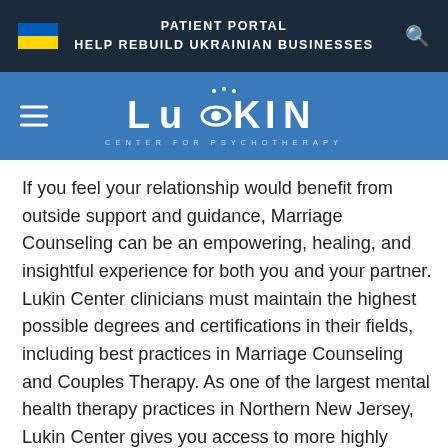PATIENT PORTAL
HELP REBUILD UKRAINIAN BUSINESSES
[Figure (logo): Lukin Center for Psychotherapy logo with hamburger menu icon on a blue navigation bar]
If you feel your relationship would benefit from outside support and guidance, Marriage Counseling can be an empowering, healing, and insightful experience for both you and your partner. Lukin Center clinicians must maintain the highest possible degrees and certifications in their fields, including best practices in Marriage Counseling and Couples Therapy. As one of the largest mental health therapy practices in Northern New Jersey, Lukin Center gives you access to more highly trained therapists and a broader range of specialties, so you can get exactly the help you need. We'll help you connect with the right mental health professional to get